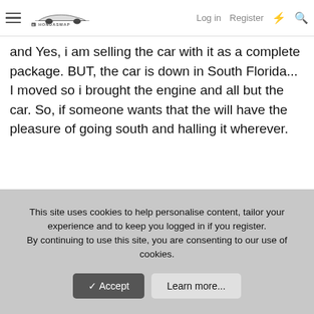HondaSwap — Log in | Register
and Yes, i am selling the car with it as a complete package. BUT, the car is down in South Florida... I moved so i brought the engine and all but the car. So, if someone wants that the will have the pleasure of going south and halling it wherever.
This site uses cookies to help personalise content, tailor your experience and to keep you logged in if you register.
By continuing to use this site, you are consenting to our use of cookies.